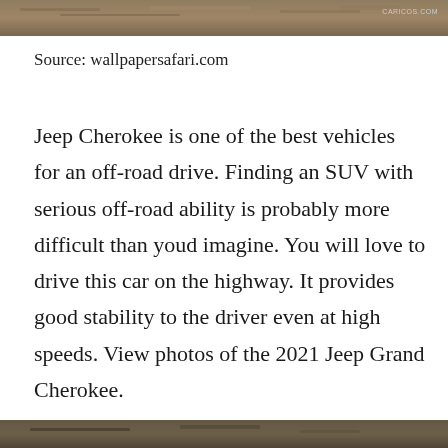[Figure (photo): Top banner image showing a sandy/dirt off-road terrain with CARICOS.COM watermark in top right corner]
Source: wallpapersafari.com
Jeep Cherokee is one of the best vehicles for an off-road drive. Finding an SUV with serious off-road ability is probably more difficult than youd imagine. You will love to drive this car on the highway. It provides good stability to the driver even at high speeds. View photos of the 2021 Jeep Grand Cherokee.
[Figure (photo): Bottom banner image showing a dark off-road terrain/ground surface]